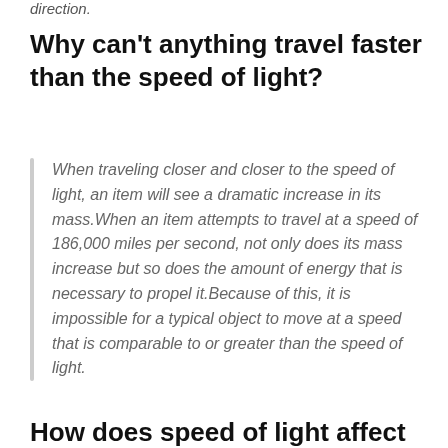direction.
Why can't anything travel faster than the speed of light?
When traveling closer and closer to the speed of light, an item will see a dramatic increase in its mass. When an item attempts to travel at a speed of 186,000 miles per second, not only does its mass increase but so does the amount of energy that is necessary to propel it. Because of this, it is impossible for a typical object to move at a speed that is comparable to or greater than the speed of light.
How does speed of light affect